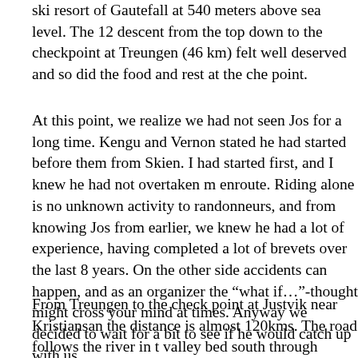ski resort of Gautefall at 540 meters above sea level. The 12 descent from the top down to the checkpoint at Treungen (46 km) felt well deserved and so did the food and rest at the checkpoint.
At this point, we realize we had not seen Jos for a long time. Kengu and Vernon stated he had started before them from Skien. I had started first, and I knew he had not overtaken me enroute. Riding alone is no unknown activity to randonneurs, and from knowing Jos from earlier, we knew he had a lot of experience, having completed a lot of brevets over the last 8 years. On the other side accidents can happen, and as an organizer the “what if…”-thought might cross your mind at times. Anyway we decided to wait for a bit to see if he would catch up with us.
From Treungen to the check point at Justvik near Kristiansand the distance is almost 120kms. The road follows the river in the valley bed south through Topdalen, passing the small communities of Åmli, Dølemo, Hynnekleiv and Herefoss before